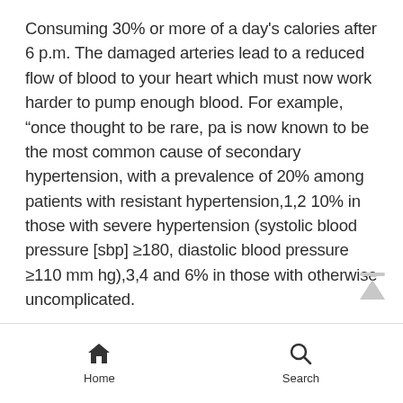Consuming 30% or more of a day's calories after 6 p.m. The damaged arteries lead to a reduced flow of blood to your heart which must now work harder to pump enough blood. For example, “once thought to be rare, pa is now known to be the most common cause of secondary hypertension, with a prevalence of 20% among patients with resistant hypertension,1,2 10% in those with severe hypertension (systolic blood pressure [sbp] ≥180, diastolic blood pressure ≥110 mm hg),3,4 and 6% in those with otherwise uncomplicated.
Home   Search